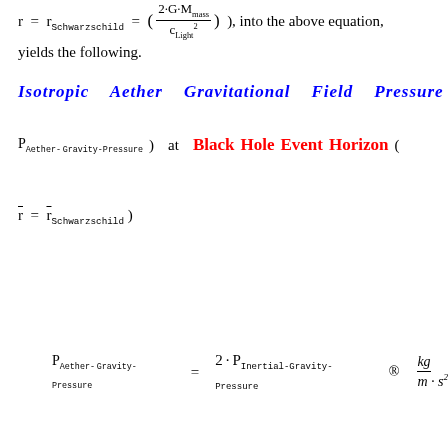r = r_Schwarzschild = (2·G·M_mass / c²_Light), into the above equation, yields the following.
Isotropic Aether Gravitational Field Pressure (
P_Aether-Gravity-Pressure) at Black Hole Event Horizon (r̄ = r̄_Schwarzschild)